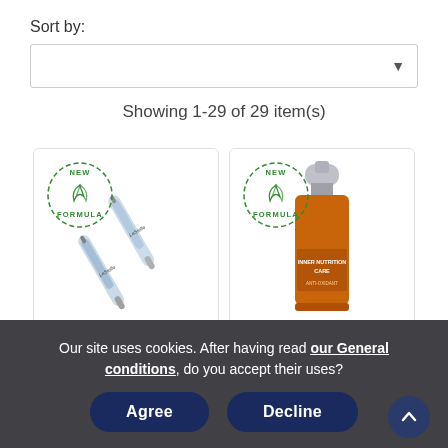Sort by:
Showing 1-29 of 29 item(s)
[Figure (photo): Product card showing two pen-like syringes labeled LeSielle with a 'New Formula' circular green badge in the top left corner]
[Figure (photo): Product card showing an orange glass dropper/serum bottle with a silver pump cap, labeled 'INNER NUTRITION CARE', with a 'New Formula' circular green badge in the top left corner]
Our site uses cookies. After having read our General conditions, do you accept their uses?
Agree
Decline